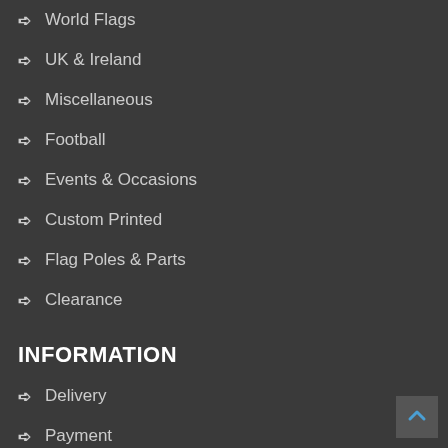World Flags
UK & Ireland
Miscellaneous
Football
Events & Occasions
Custom Printed
Flag Poles & Parts
Clearance
INFORMATION
Delivery
Payment
Contact Us
Special Offers
FAQ's
Popular Posters